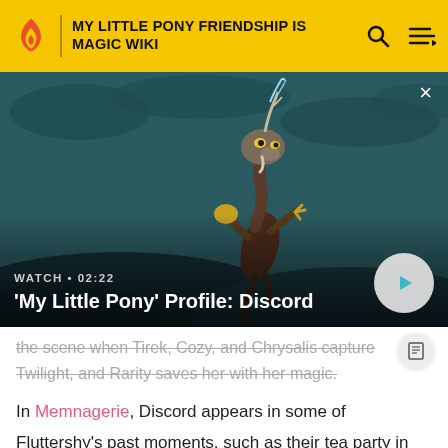MY LITTLE PONY FRIENDSHIP IS MAGIC WIKI
[Figure (screenshot): Animated character Discord from My Little Pony standing on dark landscape with antlers and glowing magic, teal/dark background]
WATCH • 02:22
'My Little Pony' Profile: Discord
the scene when Tirek, Cozy, and Chrysalis capture Twilight, and Rarity saves her with her magic.
In Memnagerie, Discord appears in some of Fluttershy's past moments, such as their tea party in Keep Calm and Flutter On, the Mane Six accusing him for being